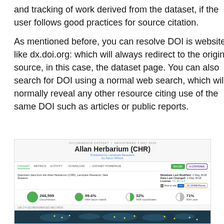and tracking of work derived from the dataset, if the user follows good practices for source citation.
As mentioned before, you can resolve DOI is websites like dx.doi.org: which will always redirect to the original source, in this case, the dataset page. You can also search for DOI using a normal web search, which will normally reveal any other resource citing use of the same DOI such as articles or public reports.
[Figure (screenshot): Screenshot of GBIF occurrence dataset page for Allan Herbarium (CHR), published by Landcare Research by Aaron Wilson. Shows navigation tabs (DATASET, METRICS, ACTIVITY, DOWNLOAD, DATASET HOMEPAGE), a CITATIONS button highlighted in purple, metadata showing last modified 1 May 2018, data last changed 1 May 2018, license CC BY 4.0, how to cite section with DOI badge and doi link. Stats show 266,599 Occurrences (green filled circle), 99.6% With taxon match (nearly full circle), 32% With coordinates (partial circle), 71% With year (partial circle). Below is a world map showing occurrence data points.]